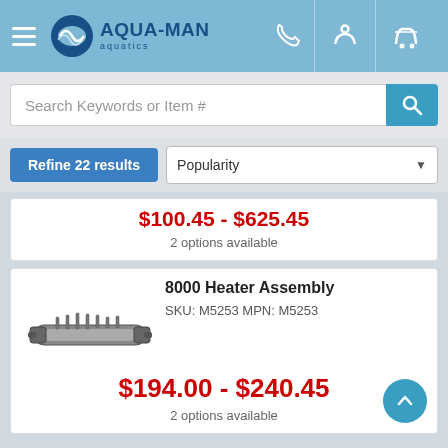AQUA-MAN aquatics
Search Keywords or Item #
Refine 22 results | Popularity
$100.45 - $625.45
2 options available
8000 Heater Assembly
SKU: M5253 MPN: M5253
[Figure (photo): 8000 Heater Assembly product photo showing a cylindrical stainless steel heater unit with fins]
$194.00 - $240.45
2 options available